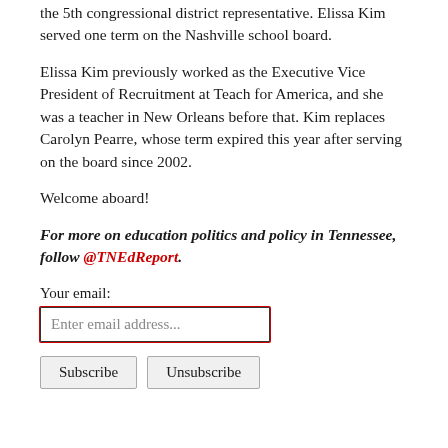the 5th congressional district representative. Elissa Kim served one term on the Nashville school board.
Elissa Kim previously worked as the Executive Vice President of Recruitment at Teach for America, and she was a teacher in New Orleans before that. Kim replaces Carolyn Pearre, whose term expired this year after serving on the board since 2002.
Welcome aboard!
For more on education politics and policy in Tennessee, follow @TNEdReport.
Your email:
Enter email address...
Subscribe | Unsubscribe